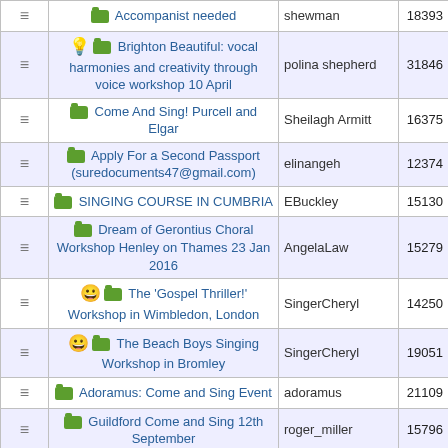|  | Title | User | Views |
| --- | --- | --- | --- |
| ≡ | 📁 Accompanist needed | shewman | 18393 |
| ≡ | 💡 📁 Brighton Beautiful: vocal harmonies and creativity through voice workshop 10 April | polina shepherd | 31846 |
| ≡ | 📁 Come And Sing! Purcell and Elgar | Sheilagh Armitt | 16375 |
| ≡ | 📁 Apply For a Second Passport (suredocuments47@gmail.com) | elinangeh | 12374 |
| ≡ | 📁 SINGING COURSE IN CUMBRIA | EBuckley | 15130 |
| ≡ | 📁 Dream of Gerontius Choral Workshop Henley on Thames 23 Jan 2016 | AngelaLaw | 15279 |
| ≡ | 😀 📁 The 'Gospel Thriller!' Workshop in Wimbledon, London | SingerCheryl | 14250 |
| ≡ | 😀 📁 The Beach Boys Singing Workshop in Bromley | SingerCheryl | 19051 |
| ≡ | 📁 Adoramus: Come and Sing Event | adoramus | 21109 |
| ≡ | 📁 Guildford Come and Sing 12th September | roger_miller | 15796 |
| ≡ | 📁 Sing ! Bath Chorus visits Portsmouth | lindavantaylor | 16947 |